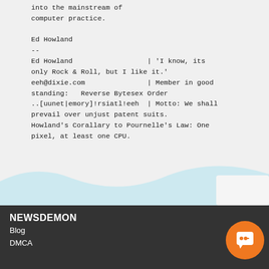into the mainstream of
computer practice.

Ed Howland
--
Ed Howland                        | 'I know, its
only Rock & Roll, but I like it.'
eeh@dixie.com                     | Member in good
standing:   Reverse Bytesex Order
..[uunet|emory]!rsiatl!eeh   | Motto: We shall
prevail over unjust patent suits.
Howland's Corallary to Pournelle's Law: One
pixel, at least one CPU.
NEWSDEMON
Blog
DMCA